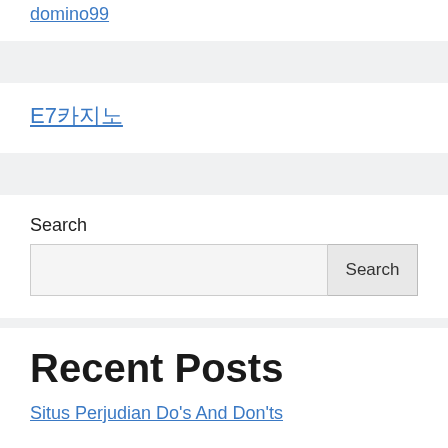domino99
E7카지노
Search
Recent Posts
Situs Perjudian Do's And Don'ts